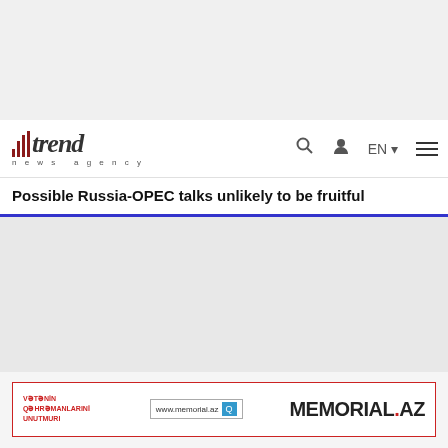[Figure (logo): Trend News Agency logo with bar chart icon and italic text]
Possible Russia-OPEC talks unlikely to be fruitful
[Figure (photo): Article featured image area (gray placeholder)]
[Figure (other): Memorial.az advertisement banner with red border]
New head of Damu Kazakh fund